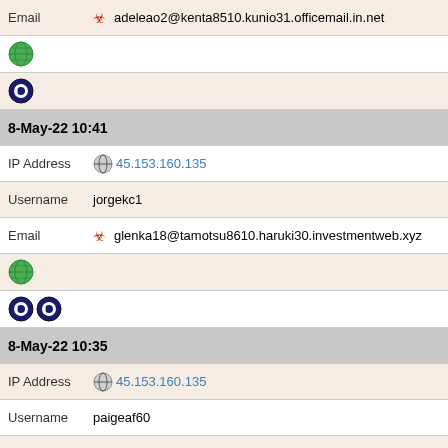Email [biohazard] adeleao2@kenta8510.kunio31.officemail.in.net
[globe icon]
[opera icon]
8-May-22 10:41
IP Address [tor] 45.153.160.135
Username   jorgekc1
Email [biohazard] glenka18@tamotsu8610.haruki30.investmentweb.xyz
[globe icon]
[opera icon] [opera icon]
8-May-22 10:35
IP Address [tor] 45.153.160.135
Username   paigeaf60
Email [biohazard] doreeniz69@ryoichi8610.rokuro26.inwebmail.fun
[globe icon]
[opera icon]
8-May-22 09:05